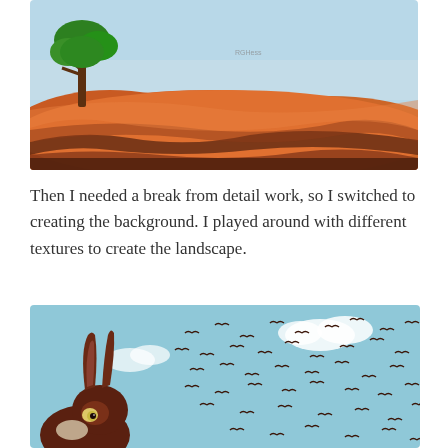[Figure (illustration): Digital painting of an Australian outback landscape with orange and red earth tones, dark striped ground layers, a green tree on the left, and a light blue sky.]
Then I needed a break from detail work, so I switched to creating the background. I played around with different textures to create the landscape.
[Figure (illustration): Digital illustration showing a dark brown rabbit or kangaroo head in the lower left, looking up at a flock of many dark birds flying across a light blue sky with white clouds.]